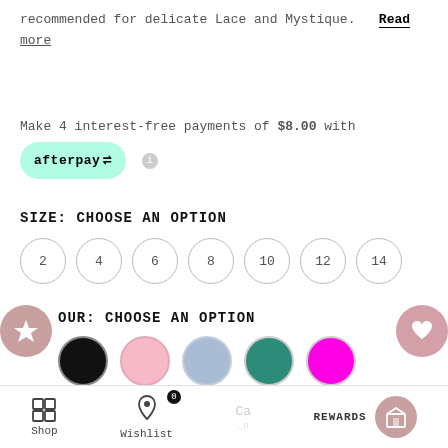recommended for delicate Lace and Mystique. Read more
Make 4 interest-free payments of $8.00 with afterpay
SIZE: CHOOSE AN OPTION
2
4
6
8
10
12
14
COLOUR: CHOOSE AN OPTION
[Figure (other): Colour selector with 5 circles: black, pink, light blue, teal, magenta]
Shop | Wishlist | Cart | REWARDS